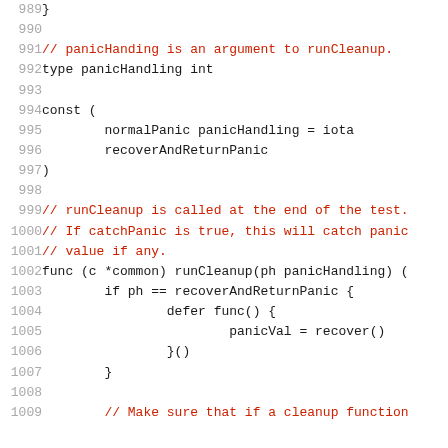Code listing lines 989-1009 showing Go source code with panicHandling type, const block, and runCleanup function definition